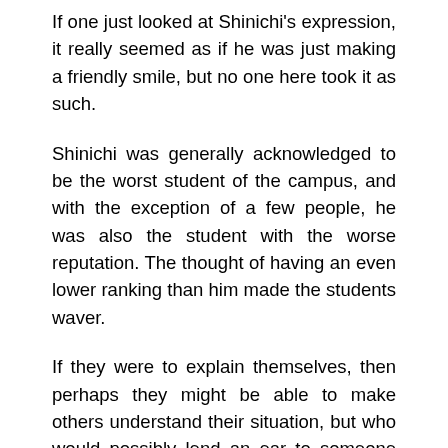If one just looked at Shinichi's expression, it really seemed as if he was just making a friendly smile, but no one here took it as such.
Shinichi was generally acknowledged to be the worst student of the campus, and with the exception of a few people, he was also the student with the worse reputation. The thought of having an even lower ranking than him made the students waver.
If they were to explain themselves, then perhaps they might be able to make others understand their situation, but who would possibly lend an ear to someone from D Class. Odds were that people would consider them to be even worse off than the trash of the academy. Could they really endure that? When they realized that, they once again considered the merits and demerits of taking the exam. Possibly, there were those of them who in a